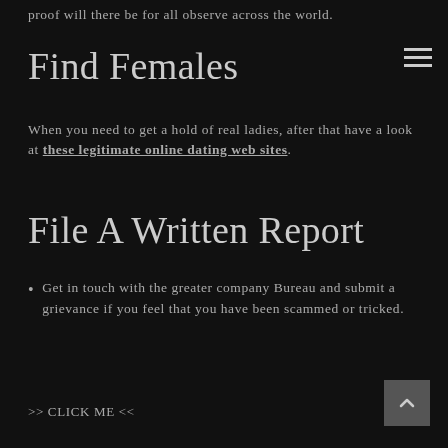proof will there be for all observe across the world.
Find Females
When you need to get a hold of real ladies, after that have a look at these legitimate online dating web sites.
File A Written Report
Get in touch with the greater company Bureau and submit a grievance if you feel that you have been scammed or tricked.
>> CLICK ME <<